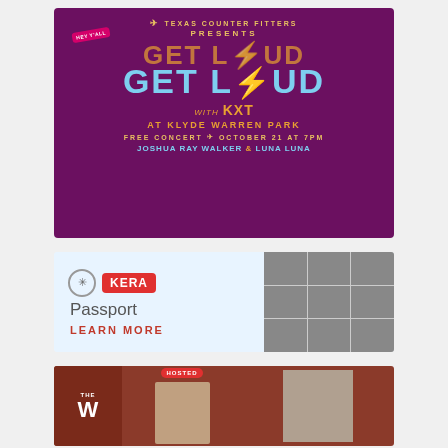[Figure (illustration): Event advertisement for Texas Counter Fitters presents 'Get Loud with KXT at Klyde Warren Park'. Free Concert on October 21 at 7PM featuring Joshua Ray Walker and Luna Luna. Purple background with stylized text.]
[Figure (illustration): KERA Passport advertisement with logo, 'Passport' text, 'LEARN MORE' call to action, and a grid of thumbnail images on the right side.]
[Figure (illustration): Partial third advertisement with dark red background, large white text 'W', 'HOSTED' badge, and two person photos visible.]